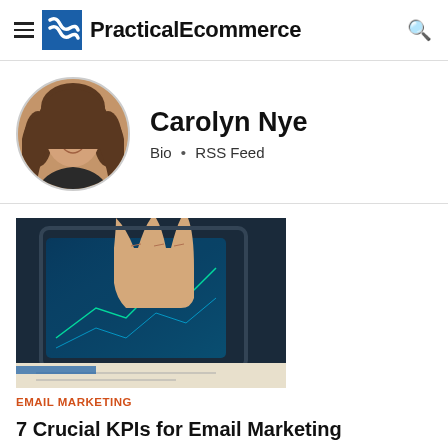PracticalEcommerce
[Figure (photo): Circular profile photo of Carolyn Nye, a woman with long dark hair]
Carolyn Nye
Bio • RSS Feed
[Figure (photo): A hand touching a digital tablet screen displaying graphs and charts]
EMAIL MARKETING
7 Crucial KPIs for Email Marketing
[Figure (photo): Partial thumbnail of a second article, showing a blue background]